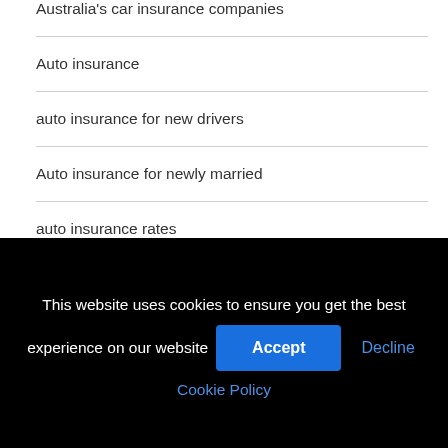Australia's car insurance companies
Auto insurance
auto insurance for new drivers
Auto insurance for newly married
auto insurance rates
Auto insurance without driving license
Average cost of pet insurance
This website uses cookies to ensure you get the best experience on our website
Accept
Decline
Cookie Policy